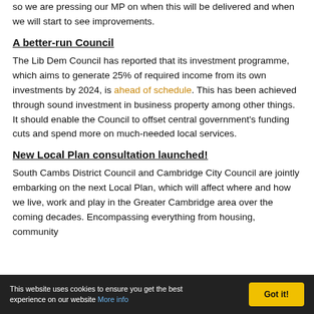so we are pressing our MP on when this will be delivered and when we will start to see improvements.
A better-run Council
The Lib Dem Council has reported that its investment programme, which aims to generate 25% of required income from its own investments by 2024, is ahead of schedule. This has been achieved through sound investment in business property among other things. It should enable the Council to offset central government's funding cuts and spend more on much-needed local services.
New Local Plan consultation launched!
South Cambs District Council and Cambridge City Council are jointly embarking on the next Local Plan, which will affect where and how we live, work and play in the Greater Cambridge area over the coming decades. Encompassing everything from housing, community
This website uses cookies to ensure you get the best experience on our website More info   Got it!